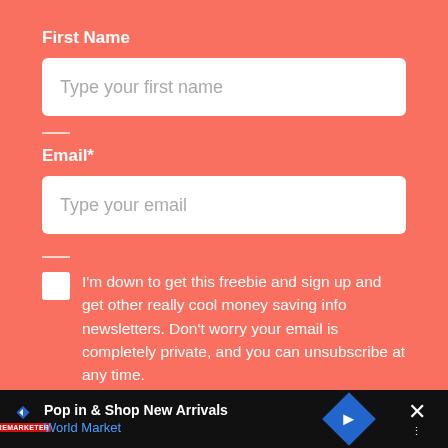First Name
Type your first name
Email*
Type your email
I'm down to get this freebie and sign up and get other really cool money saving info newsletters. Don't worry your email is completely private, and you can unsubscribe at any time.
SUBMIT
Pop in & Shop New Arrivals World Market